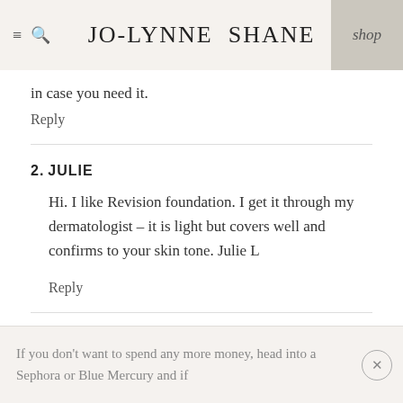JO-LYNNE SHANE | shop
in case you need it.
Reply
2. JULIE
Hi. I like Revision foundation. I get it through my dermatologist – it is light but covers well and confirms to your skin tone. Julie L
Reply
3. LORI
If you don't want to spend any more money, head into a Sephora or Blue Mercury and if